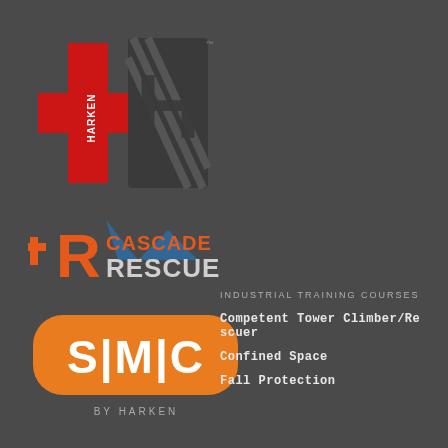[Figure (logo): Harken logo - red cross/H shape with HARKEN text in white, and a dark diagonal striped H element to the right]
[Figure (logo): Cascade Rescue logo - orange R with plus sign and mountain silhouette in blue, with CASCADE RESCUE text in orange and dark]
[Figure (logo): SMC by Harken logo - orange rounded rectangle badge with S|M|C text in white and BY HARKEN text below]
INDUSTRIAL TRAINING COURSES
Competent Tower Climber/Rescuer
Confined Space
Fall Protection